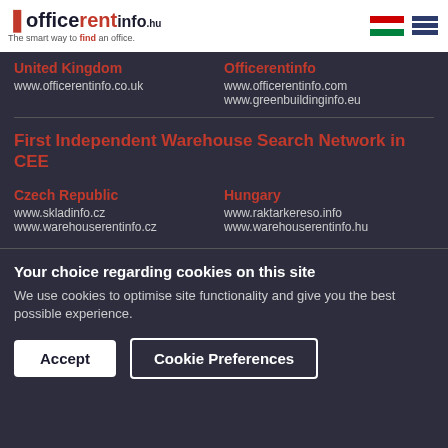officerentinfo.hu — The smart way to find an office.
United Kingdom
www.officerentinfo.co.uk
Officerentinfo
www.officerentinfo.com
www.greenbuildinginfo.eu
First Independent Warehouse Search Network in CEE
Czech Republic
www.skladinfo.cz
www.warehouserentinfo.cz
Hungary
www.raktarkereso.info
www.warehouserentinfo.hu
Your choice regarding cookies on this site
We use cookies to optimise site functionality and give you the best possible experience.